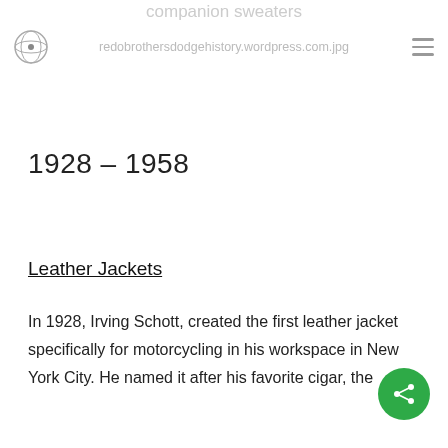companion sweaters
redobrothersdodgehistory.wordpress.com.jpg
1928 – 1958
Leather Jackets
In 1928, Irving Schott, created the first leather jacket specifically for motorcycling in his workspace in New York City. He named it after his favorite cigar, the